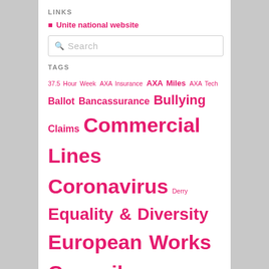LINKS
Unite national website
[Figure (screenshot): Search input box with magnifying glass icon and placeholder text 'Search']
TAGS
37.5 Hour Week  AXA Insurance  AXA Miles  AXA Tech  Ballot  Bancassurance  Bullying  Claims  Commercial Lines  Coronavirus  Derry  Equality & Diversity  European Works Council  Facebook  Flexible Working  Flexitime  Friends Life  health and safety  Holiday  job losses  Northern Ireland  Overtime  Pay 2011